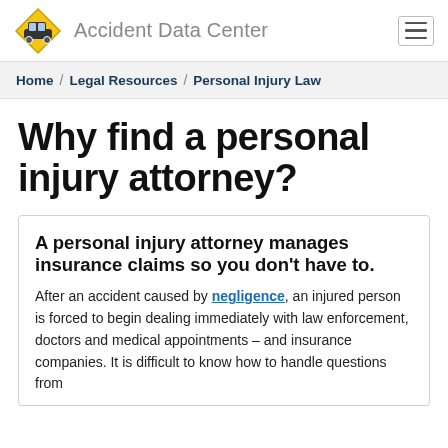Accident Data Center
Home / Legal Resources / Personal Injury Law
Why find a personal injury attorney?
A personal injury attorney manages insurance claims so you don't have to.
After an accident caused by negligence, an injured person is forced to begin dealing immediately with law enforcement, doctors and medical appointments – and insurance companies. It is difficult to know how to handle questions from insurance companies…